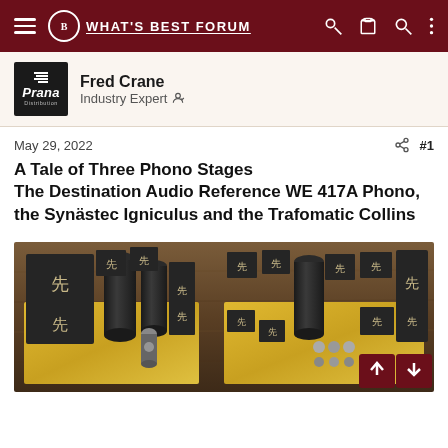WHAT'S BEST FORUM
Fred Crane
Industry Expert
May 29, 2022   #1
A Tale of Three Phono Stages
The Destination Audio Reference WE 417A Phono, the Synästec Igniculus and the Trafomatic Collins
[Figure (photo): Photograph of audio equipment showing black transformer/component blocks with Chinese characters (先) arranged on gold base plates on a wooden surface, appearing to be high-end phono stage components]